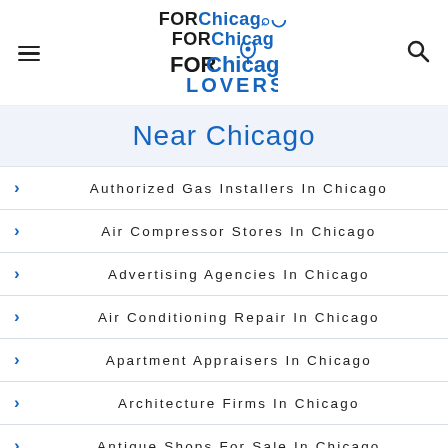FOR Chicago LOVERS
Near Chicago
Authorized Gas Installers In Chicago
Air Compressor Stores In Chicago
Advertising Agencies In Chicago
Air Conditioning Repair In Chicago
Apartment Appraisers In Chicago
Architecture Firms In Chicago
Antique Shops For Sale In Chicago